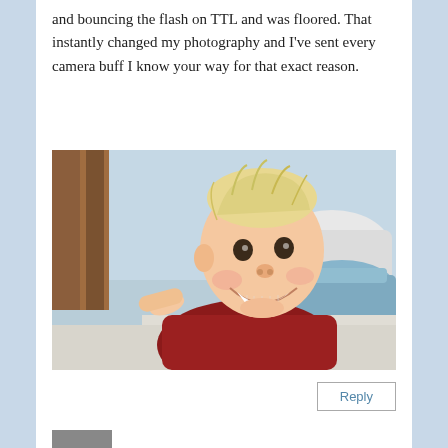and bouncing the flash on TTL and was floored. That instantly changed my photography and I've sent every camera buff I know your way for that exact reason.
[Figure (photo): A smiling baby with light blond hair wearing a red shirt, standing in a wooden crib with a blue blanket and white pillow in the background.]
Reply